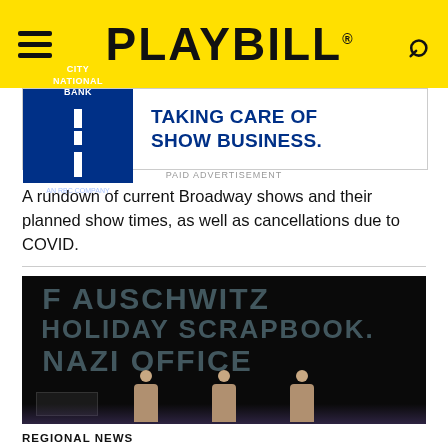PLAYBILL
[Figure (other): City National Bank advertisement: TAKING CARE OF SHOW BUSINESS.]
A rundown of current Broadway shows and their planned show times, as well as cancellations due to COVID.
[Figure (photo): Theater stage photo showing three performers standing in front of a large projection with text: F AUSCHWITZ, HOLIDAY SCRAPBOOK, NAZI OFFICE]
REGIONAL NEWS